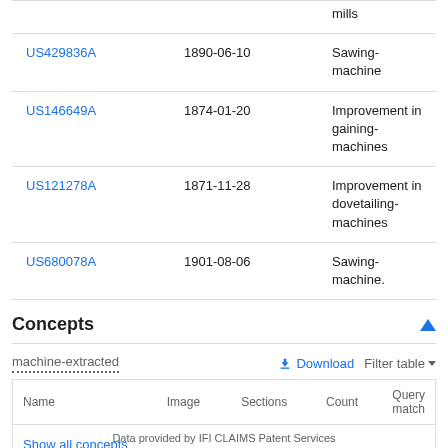| Patent | Date | Title |
| --- | --- | --- |
|  |  | mills |
| US429836A | 1890-06-10 | Sawing-machine |
| US146649A | 1874-01-20 | Improvement in gaining-machines |
| US121278A | 1871-11-28 | Improvement in dovetailing-machines |
| US680078A | 1901-08-06 | Sawing-machine. |
Concepts
machine-extracted
| Name | Image | Sections | Count | Query match |
| --- | --- | --- | --- | --- |
| Show all concepts from the description section |  |  |  |  |
Data provided by IFI CLAIMS Patent Services